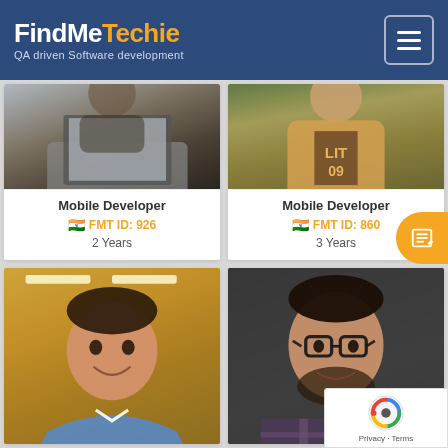FindMeTechie – QA driven Software development
[Figure (photo): Person using a laptop, top-down view]
Mobile Developer
FMT ID: 926
2 Years
[Figure (photo): Person in a beige jacket standing outdoors]
Mobile Developer
FMT ID: 860
3 Years
[Figure (photo): Young man smiling in an office setting]
[Figure (photo): Young man with glasses smiling]